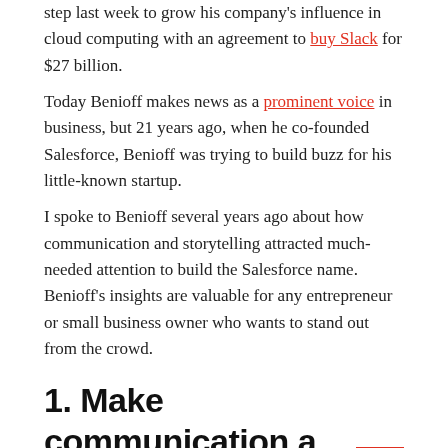step last week to grow his company's influence in cloud computing with an agreement to buy Slack for $27 billion.
Today Benioff makes news as a prominent voice in business, but 21 years ago, when he co-founded Salesforce, Benioff was trying to build buzz for his little-known startup.
I spoke to Benioff several years ago about how communication and storytelling attracted much-needed attention to build the Salesforce name. Benioff's insights are valuable for any entrepreneur or small business owner who wants to stand out from the crowd.
1. Make communication a priority.
“Communication is the most essential part of my job,”